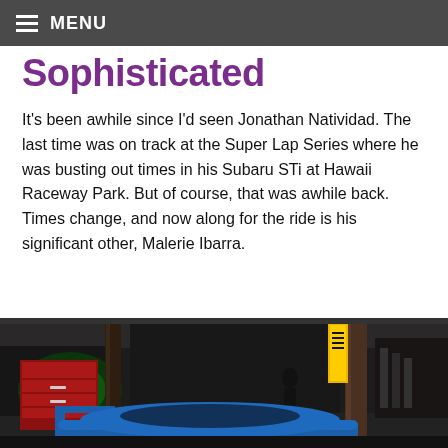MENU
Sophisticated
It's been awhile since I'd seen Jonathan Natividad. The last time was on track at the Super Lap Series where he was busting out times in his Subaru STi at Hawaii Raceway Park. But of course, that was awhile back. Times change, and now along for the ride is his significant other, Malerie Ibarra.
[Figure (photo): A blue Subaru sports car on a lift inside a garage/auto shop, with green-lit background, red tool chest, and garage equipment visible.]